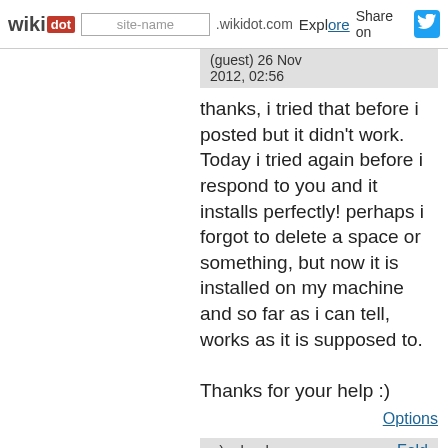wikidot | site-name .wikidot.com | Explore | Share on
(guest) 26 Nov 2012, 02:56
thanks, i tried that before i posted but it didn't work. Today i tried again before i respond to you and it installs perfectly! perhaps i forgot to delete a space or something, but now it is installed on my machine and so far as i can tell, works as it is supposed to.

Thanks for your help :)
Options
;-)  abeeha   Fold
(guest) 21 Aug 2013, 07:46
I cannot click the option under the hover menu in order